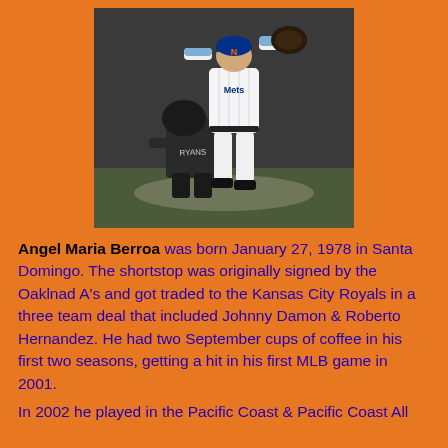[Figure (photo): Baseball player in white New York Mets uniform jumping in the air while fielding, with another player in dark uniform crouching below, on a baseball field.]
Angel Maria Berroa was born January 27, 1978 in Santa Domingo. The shortstop was originally signed by the Oaklnad A's and got traded to the Kansas City Royals in a three team deal that included Johnny Damon & Roberto Hernandez. He had two September cups of coffee in his first two seasons, getting a hit in his first MLB game in 2001.
In 2002 he played in the Pacific Coast & Pacific Coast All